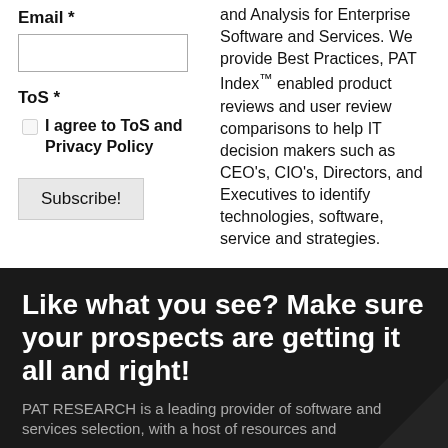Email *
ToS *
I agree to ToS and Privacy Policy
Subscribe!
and Analysis for Enterprise Software and Services. We provide Best Practices, PAT Index™ enabled product reviews and user review comparisons to help IT decision makers such as CEO's, CIO's, Directors, and Executives to identify technologies, software, service and strategies.
Like what you see? Make sure your prospects are getting it all and right!
PAT RESEARCH is a leading provider of software and services selection, with a host of resources and